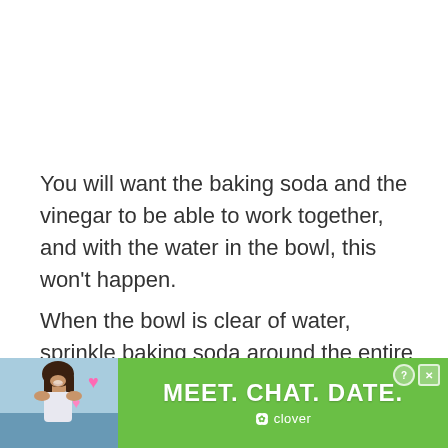You will want the baking soda and the vinegar to be able to work together, and with the water in the bowl, this won't happen.
When the bowl is clear of water, sprinkle baking soda around the entire inside.
You will... ...of baking...
[Figure (screenshot): Advertisement banner overlay at the bottom of the page. Green background with 'MEET. CHAT. DATE.' text in white bold letters, Clover app logo and text, close/help buttons in top right corner, and a photo of a woman on the left side.]